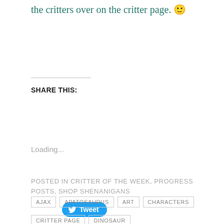the critters over on the critter page. 🙂
SHARE THIS:
[Figure (other): Twitter Tweet button - blue rounded button with bird icon and 'Tweet' text]
Loading...
POSTED IN CRITTER OF THE WEEK, PROGRESS POSTS, SHOP SHENANIGANS
AJAX
APATOSAURUS
ART
CHARACTERS
CRITTER PAGE
DINOSAUR
ILLUSTRATION
PALEO PETSHOP
PARTY
PROGRESS
SAUROPOD
UPDATES